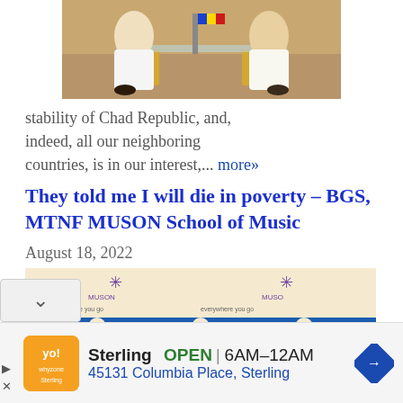[Figure (photo): Photo of people in white robes seated around a glass table, with national flags in the background (Chad and Nigeria flags visible).]
stability of Chad Republic, and, indeed, all our neighboring countries, is in our interest,... more»
They told me I will die in poverty – BGS, MTNF MUSON School of Music
August 18, 2022
[Figure (photo): MTN/MUSON School of Music banner with MTN logos and 'everywhere you go' text.]
Sterling   OPEN | 6AM–12AM   45131 Columbia Place, Sterling